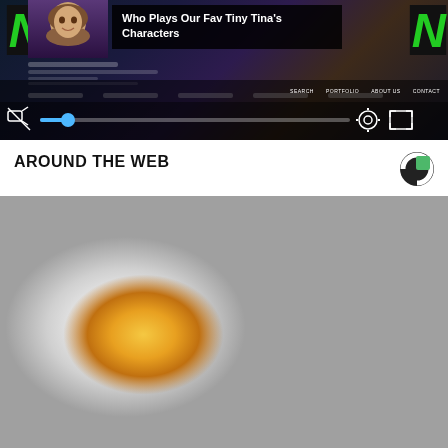[Figure (screenshot): Video player screenshot showing a gaming/entertainment website with a character from Tiny Tina's Wonderlands, green N logos on sides, title overlay reading 'Who Plays Our Fav Tiny Tina's Characters', video controls bar, and navigation bar with SEARCH, PORTFOLIO, ABOUT US, CONTACT]
AROUND THE WEB
[Figure (photo): Close-up photo of two halved hard-boiled eggs showing yellow yolks, on a dark wooden surface]